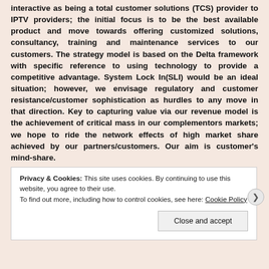interactive as being a total customer solutions (TCS) provider to IPTV providers; the initial focus is to be the best available product and move towards offering customized solutions, consultancy, training and maintenance services to our customers. The strategy model is based on the Delta framework with specific reference to using technology to provide a competitive advantage. System Lock In(SLI) would be an ideal situation; however, we envisage regulatory and customer resistance/customer sophistication as hurdles to any move in that direction. Key to capturing value via our revenue model is the achievement of critical mass in our complementors markets; we hope to ride the network effects of high market share achieved by our partners/customers. Our aim is customer's mind-share.
Privacy & Cookies: This site uses cookies. By continuing to use this website, you agree to their use. To find out more, including how to control cookies, see here: Cookie Policy
Close and accept